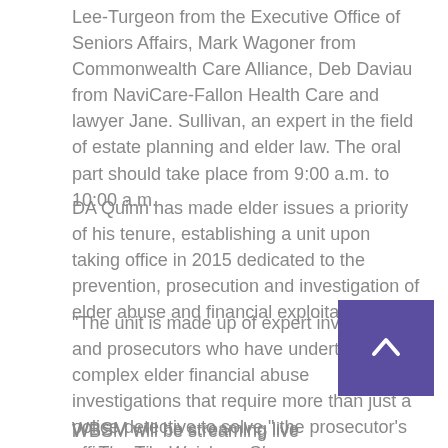Lee-Turgeon from the Executive Office of Seniors Affairs, Mark Wagoner from Commonwealth Care Alliance, Deb Daviau from NaviCare-Fallon Health Care and lawyer Jane. Sullivan, an expert in the field of estate planning and elder law. The oral part should take place from 9:00 a.m. to 10:00 a.m.
DA Quinn has made elder issues a priority of his tenure, establishing a unit upon taking office in 2015 dedicated to the prevention, prosecution and investigation of elder abuse and financial exploitation.
"The unit is made up of expert investigators and prosecutors who have undertaken complex elder financial abuse investigations that require more than just a police detective to solve," the prosecutor's office said.
WBSM will be streaming live throughout the conference on The Tim Weisberg Show. Tune in to 1420 AM, 99.5